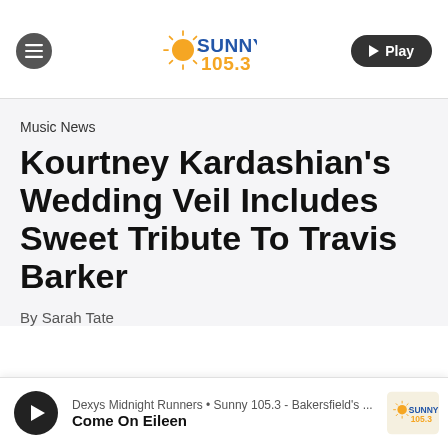[Figure (logo): Sunny 105.3 radio station navigation bar with hamburger menu icon, Sunny 105.3 logo, and Play button]
Music News
Kourtney Kardashian's Wedding Veil Includes Sweet Tribute To Travis Barker
By Sarah Tate
[Figure (logo): Sunny 105.3 bottom player bar showing: Dexys Midnight Runners • Sunny 105.3 - Bakersfield's ... / Come On Eileen]